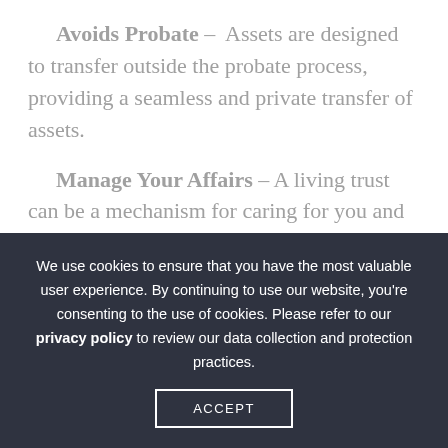Avoids Probate – Assets are designed to transfer outside the probate process, providing a seamless and private transfer of assets.
Manage Your Affairs – A living trust can be a mechanism for caring for you and your property in the event of your physical or mental disability, provided you have...
We use cookies to ensure that you have the most valuable user experience. By continuing to use our website, you're consenting to the use of cookies. Please refer to our privacy policy to review our data collection and protection practices.